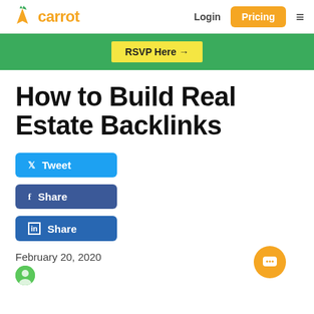carrot | Login | Pricing
RSVP Here →
How to Build Real Estate Backlinks
Tweet
Share
Share
February 20, 2020